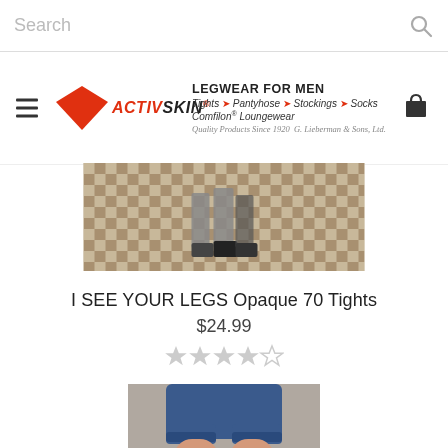Search
[Figure (logo): ActivSkin logo with red diamond shape and text 'ACTIVSKIN'. Tagline reads 'LEGWEAR FOR MEN / Tights, Pantyhose, Stockings, Socks / Comfilon® Loungewear / Quality Products Since 1920 G. Lieberman & Sons, Ltd.']
[Figure (photo): Banner photo showing men's legs in dress shoes on a checkered floor]
I SEE YOUR LEGS Opaque 70 Tights
$24.99
[Figure (other): Star rating: 4 out of 5 stars (4 filled stars, 1 empty star)]
[Figure (photo): Product photo showing woman's legs wearing flesh-toned tights with blue denim shorts]